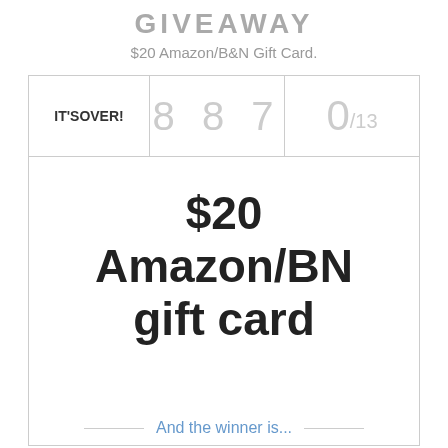GIVEAWAY
$20 Amazon/B&N Gift Card.
[Figure (infographic): Giveaway widget box with 'IT'S OVER!' label, entry count '8 8 7', fraction '0/13', prize text '$20 Amazon/BN gift card', and 'And the winner is...' footer line]
And the winner is...